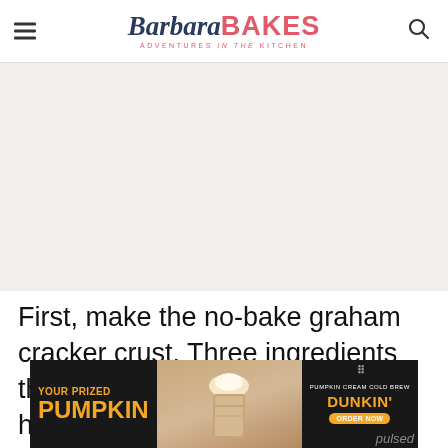Barbara BAKES — ADVENTURES in the KITCHEN
[Figure (photo): Light gray placeholder image area, likely a food photo of a graham cracker crust or dessert]
First, make the no-bake graham cracker crust. Three ingredients that you probably already have at home:
[Figure (other): Dunkin' advertisement banner: YOUR PRIZED PUMPKIN — PUMPKIN CREAM COLD BREW — DUNKIN' ORDER NOW]